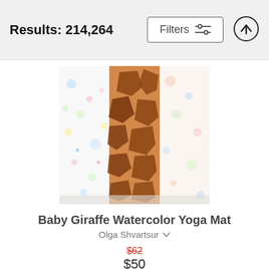Results: 214,264
[Figure (screenshot): Filters button with sliders icon and up arrow button]
[Figure (photo): Baby Giraffe Watercolor Yoga Mat product image showing three yoga mats with watercolor and giraffe print patterns]
Baby Giraffe Watercolor Yoga Mat
Olga Shvartsur
$62 (original price, strikethrough)
$50
[Figure (photo): Second product image partially visible at bottom showing a vintage/yellowed document or book page]